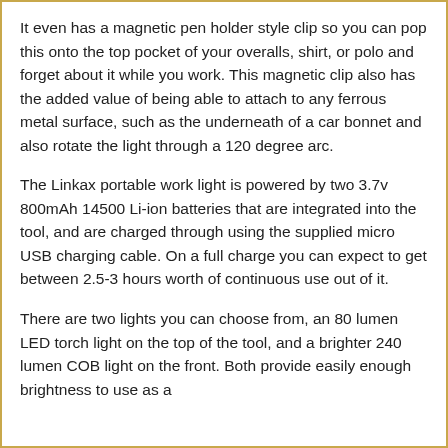It even has a magnetic pen holder style clip so you can pop this onto the top pocket of your overalls, shirt, or polo and forget about it while you work. This magnetic clip also has the added value of being able to attach to any ferrous metal surface, such as the underneath of a car bonnet and also rotate the light through a 120 degree arc.
The Linkax portable work light is powered by two 3.7v 800mAh 14500 Li-ion batteries that are integrated into the tool, and are charged through using the supplied micro USB charging cable. On a full charge you can expect to get between 2.5-3 hours worth of continuous use out of it.
There are two lights you can choose from, an 80 lumen LED torch light on the top of the tool, and a brighter 240 lumen COB light on the front. Both provide easily enough brightness to use as a